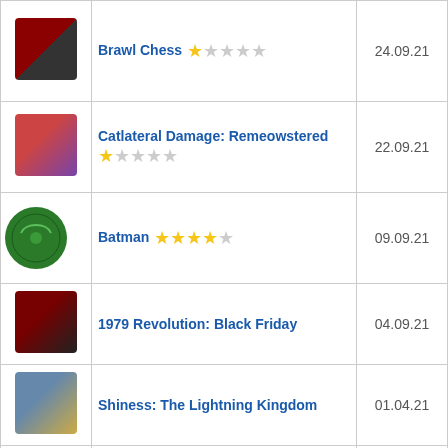| Icon | Game | Date |
| --- | --- | --- |
| [img] | Brawl Chess ★☆☆☆☆ | 24.09.21 |
| [img] | Catlateral Damage: Remeowstered ★★☆☆☆ | 22.09.21 |
| [xbox] | Batman ★★★★☆ | 09.09.21 |
| [img] | 1979 Revolution: Black Friday | 04.09.21 |
| [img] | Shiness: The Lightning Kingdom | 01.04.21 |
| [img] | OCTOPATH TRAVELER | 17.07.21 |
| [img] | Shining Resonance Refrain | 01.08.21 |
| [img] | Haven | 01.04.21 |
| [xbox] | Walking Dead: Michonne ★★★★☆ | 08.09.21 |
| [img] | Zenith | 06.09.21 |
| [img] | Tales from the Borderlands - Episode 1: Zer0 | 05.09.21 |